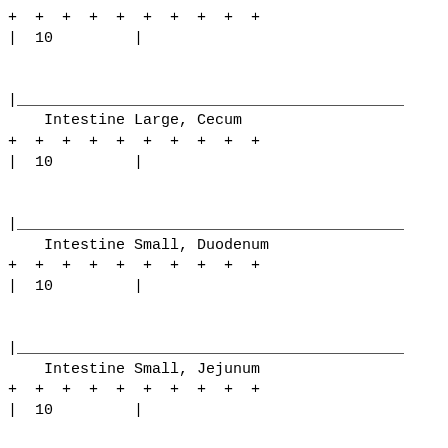+ + + + + + + + + +
| 10         |

|
    Intestine Large, Cecum                          |
+ + + + + + + + + +
| 10         |

|
    Intestine Small, Duodenum                       |
+ + + + + + + + + +
| 10         |

|
    Intestine Small, Jejunum                        |
+ + + + + + + + + +
| 10         |

|